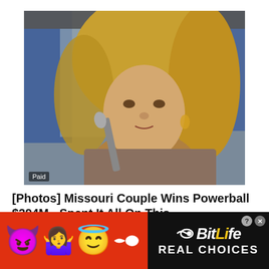[Figure (photo): A blonde woman speaking into a microphone at a public event, wearing a fur-like coat. Blue banners visible in the background. 'Paid' label in lower left corner.]
[Photos] Missouri Couple Wins Powerball $294M - Spent It All On This
Sponsored | Food Sided
[Figure (infographic): BitLife app advertisement banner on red background featuring devil emoji, woman shrugging emoji, angel emoji, sperm emoji, and BitLife logo with 'REAL CHOICES' text on black background.]